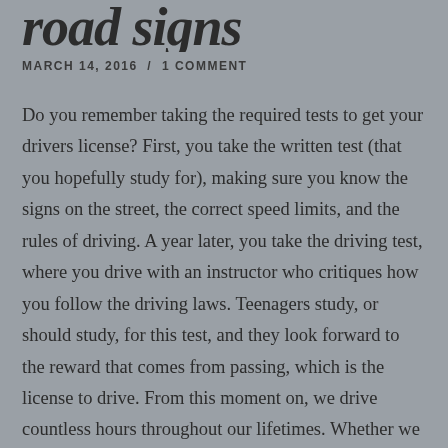road signs
MARCH 14, 2016  /  1 COMMENT
Do you remember taking the required tests to get your drivers license?  First, you take the written test (that you hopefully study for), making sure you know the signs on the street, the correct speed limits, and the rules of driving.  A year later, you take the driving test, where you drive with an instructor who critiques how you follow the driving laws.  Teenagers study, or should study, for this test, and they look forward to the reward that comes from passing, which is the license to drive.  From this moment on, we drive countless hours throughout our lifetimes.  Whether we are taking a long road trip or just driving to work each day, we must continually follow the signs of the road.  We follow the directions of the street signs to get to our desired destination, we follow the speed limit signs in order to avoid a ticket and a fine, and we obey other signs and